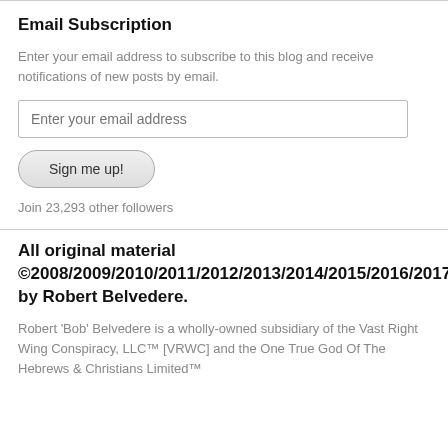Email Subscription
Enter your email address to subscribe to this blog and receive notifications of new posts by email.
Enter your email address
Sign me up!
Join 23,293 other followers
All original material ©2008/2009/2010/2011/2012/2013/2014/2015/2016/2017/2018/2019/2020/2021 by Robert Belvedere.
Robert 'Bob' Belvedere is a wholly-owned subsidiary of the Vast Right Wing Conspiracy, LLC™ [VRWC] and the One True God Of The Hebrews & Christians Limited™